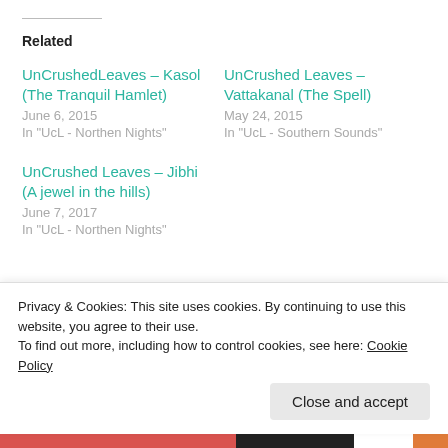Related
UnCrushedLeaves – Kasol (The Tranquil Hamlet)
June 6, 2015
In "UcL - Northen Nights"
UnCrushed Leaves – Vattakanal (The Spell)
May 24, 2015
In "UcL - Southern Sounds"
UnCrushed Leaves – Jibhi (A jewel in the hills)
June 7, 2017
In "UcL - Northen Nights"
UcL - Northen Nights
Privacy & Cookies: This site uses cookies. By continuing to use this website, you agree to their use.
To find out more, including how to control cookies, see here: Cookie Policy
Close and accept